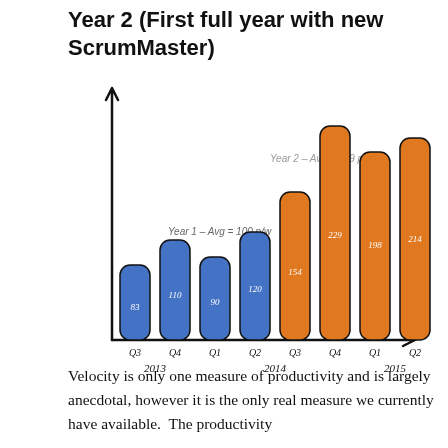Year 2 (First full year with new ScrumMaster)
[Figure (bar-chart): Year 2 (First full year with new ScrumMaster)]
Velocity is only one measure of productivity and is largely anecdotal, however it is the only real measure we currently have available.  The productivity